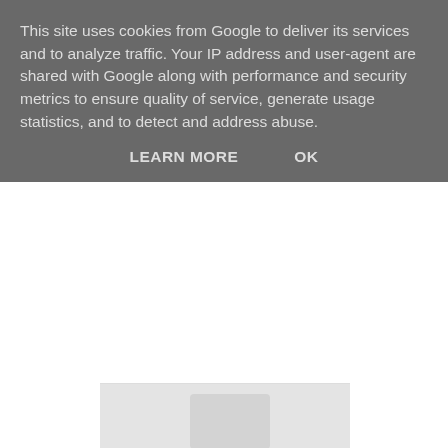This site uses cookies from Google to deliver its services and to analyze traffic. Your IP address and user-agent are shared with Google along with performance and security metrics to ensure quality of service, generate usage statistics, and to detect and address abuse.
LEARN MORE   OK
[Figure (photo): Partially visible image, mostly gray placeholder area]
{Holly sunglasses, £45 Jigsaw}
But the best option by far is TK Maxx - there's always a good choice, any time of year. I found this Loewe pair below for £19.99, and after enough scrabbling around, also located the matching polish cloth and case. And the advantage over the aviators is that you can push these onto your head without the nose supports getting into an almighty tangle in your hair.